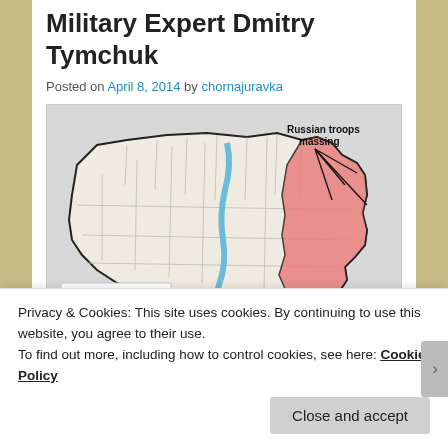Military Expert Dmitry Tymchuk
Posted on April 8, 2014 by chornajuravka
[Figure (map): Map of Ukraine showing eastern regions highlighted in pink/red labeled 'Government buildings seized by pro-Russia protesters', with arrows pointing to the eastern border labeled 'Russian troops massing'.]
Privacy & Cookies: This site uses cookies. By continuing to use this website, you agree to their use.
To find out more, including how to control cookies, see here: Cookie Policy